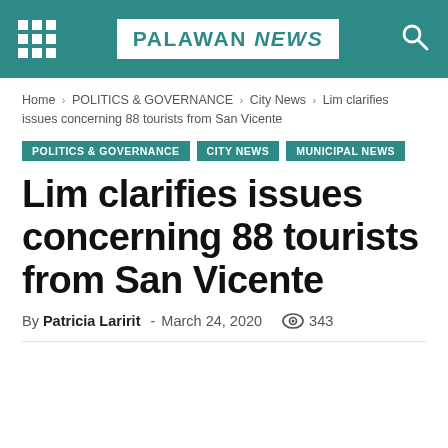PALAWAN NEWS
Home › POLITICS & GOVERNANCE › City News › Lim clarifies issues concerning 88 tourists from San Vicente
POLITICS & GOVERNANCE  CITY NEWS  MUNICIPAL NEWS
Lim clarifies issues concerning 88 tourists from San Vicente
By Patricia Laririt - March 24, 2020  343